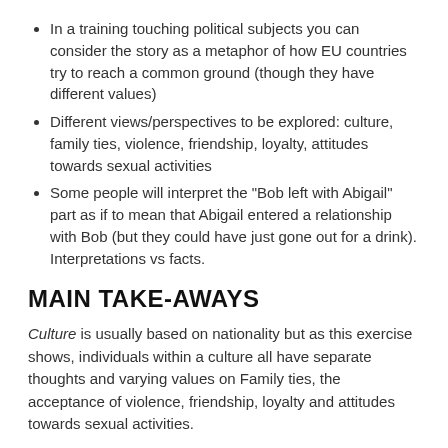In a training touching political subjects you can consider the story as a metaphor of how EU countries try to reach a common ground (though they have different values)
Different views/perspectives to be explored: culture, family ties, violence, friendship, loyalty, attitudes towards sexual activities
Some people will interpret the "Bob left with Abigail" part as if to mean that Abigail entered a relationship with Bob (but they could have just gone out for a drink). Interpretations vs facts.
MAIN TAKE-AWAYS
Culture is usually based on nationality but as this exercise shows, individuals within a culture all have separate thoughts and varying values on Family ties, the acceptance of violence, friendship, loyalty and attitudes towards sexual activities.
When mixing with people from different cultures we should be aware that all their actions, values and attitudes are not